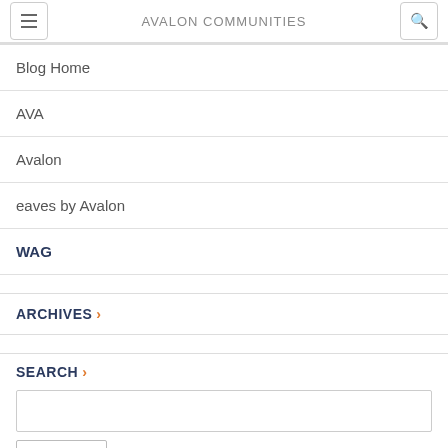AVALON COMMUNITIES
Blog Home
AVA
Avalon
eaves by Avalon
WAG
ARCHIVES ›
SEARCH ›